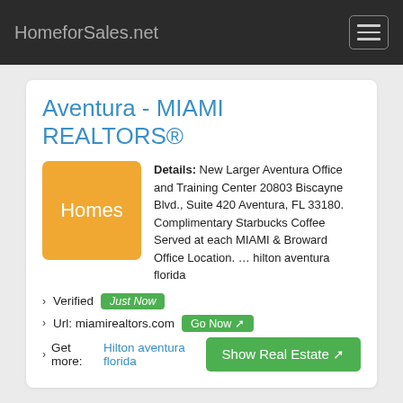HomeforSales.net
Aventura - MIAMI REALTORS®
Details: New Larger Aventura Office and Training Center 20803 Biscayne Blvd., Suite 420 Aventura, FL 33180. Complimentary Starbucks Coffee Served at each MIAMI & Broward Office Location. … hilton aventura florida
› Verified  Just Now
› Url: miamirealtors.com  Go Now
› Get more: Hilton aventura florida   Show Real Estate